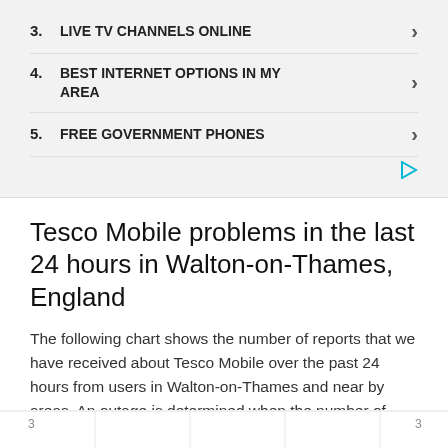3. LIVE TV CHANNELS ONLINE
4. BEST INTERNET OPTIONS IN MY AREA
5. FREE GOVERNMENT PHONES
Tesco Mobile problems in the last 24 hours in Walton-on-Thames, England
The following chart shows the number of reports that we have received about Tesco Mobile over the past 24 hours from users in Walton-on-Thames and near by areas. An outage is determined when the number of reports are higher than the baseline, represented by the red line.
[Figure (continuous-plot): Partial chart bottom edge showing y-axis labels of '3' on both left and right sides, with vertical gridlines visible]